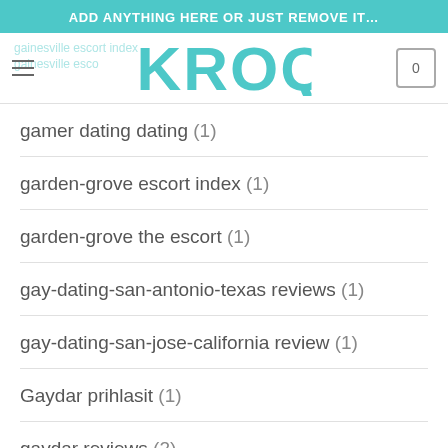ADD ANYTHING HERE OR JUST REMOVE IT…
[Figure (logo): KROQ logo in teal with hamburger menu and cart icon]
gamer dating dating (1)
garden-grove escort index (1)
garden-grove the escort (1)
gay-dating-san-antonio-texas reviews (1)
gay-dating-san-jose-california review (1)
Gaydar prihlasit (1)
gaydar reviews (2)
gaydar seiten (1)
Gaydar visitors (2)